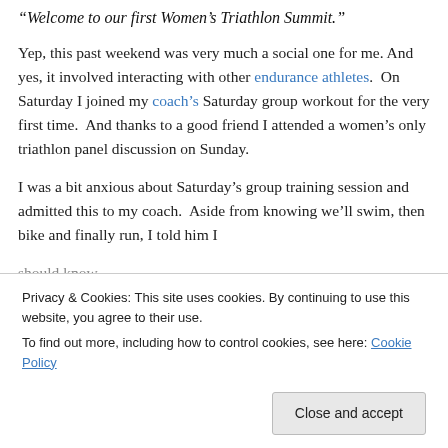“Welcome to our first Women’s Triathlon Summit.”
Yep, this past weekend was very much a social one for me.  And yes, it involved interacting with other endurance athletes.  On Saturday I joined my coach’s Saturday group workout for the very first time.  And thanks to a good friend I attended a women’s only triathlon panel discussion on Sunday.
I was a bit anxious about Saturday’s group training session and admitted this to my coach.  Aside from knowing we’ll swim, then bike and finally run, I told him I
should know.
Privacy & Cookies: This site uses cookies. By continuing to use this website, you agree to their use.
To find out more, including how to control cookies, see here: Cookie Policy
Close and accept